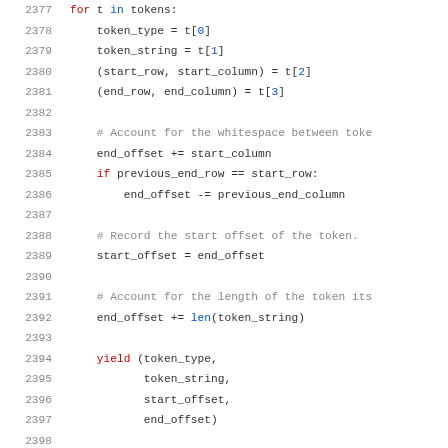[Figure (screenshot): Python source code snippet showing lines 2377-2399, with syntax highlighting: keywords in red (for, if, yield), built-ins in blue (in, len), comments in gray, and default code text in dark gray. Line numbers shown on the left.]